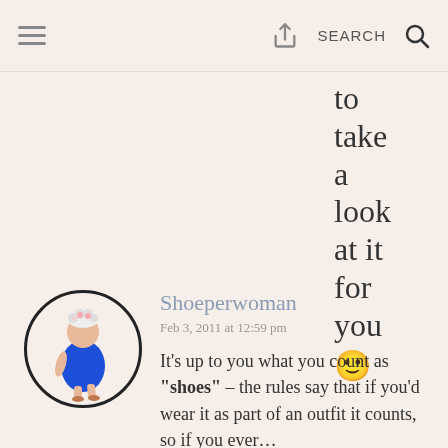☰  [share icon]  SEARCH  🔍
to take a look at it for you 🙂
[Figure (illustration): Avatar: circular illustration of a cartoon woman in a blue dress with white curly hair, shown from behind/side, walking]
Shoeperwoman
Feb 3, 2011 at 12:59 pm

It's up to you what you count as "shoes" – the rules say that if you'd wear it as part of an outfit it counts, so if you ever…